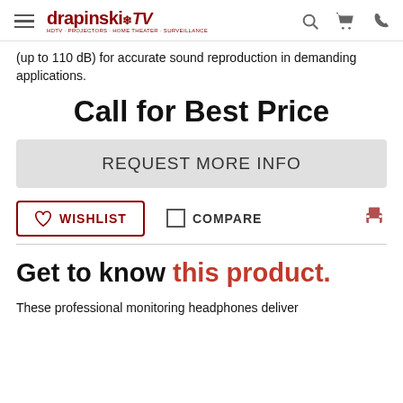drapinski TV — navigation header with hamburger menu, logo, search, cart, and phone icons
(up to 110 dB) for accurate sound reproduction in demanding applications.
Call for Best Price
REQUEST MORE INFO
WISHLIST  COMPARE
Get to know this product.
These professional monitoring headphones deliver